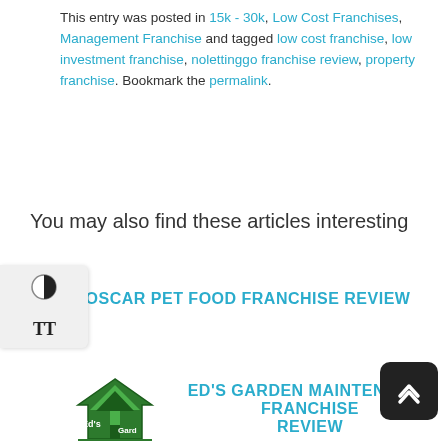This entry was posted in 15k - 30k, Low Cost Franchises, Management Franchise and tagged low cost franchise, low investment franchise, nolettinggo franchise review, property franchise. Bookmark the permalink.
You may also find these articles interesting
OSCAR PET FOOD FRANCHISE REVIEW
[Figure (logo): Ed's Garden Maintenance logo — green house/tree icon with text 'Ed's Gard' visible]
ED'S GARDEN MAINTENANCE FRANCHISE REVIEW